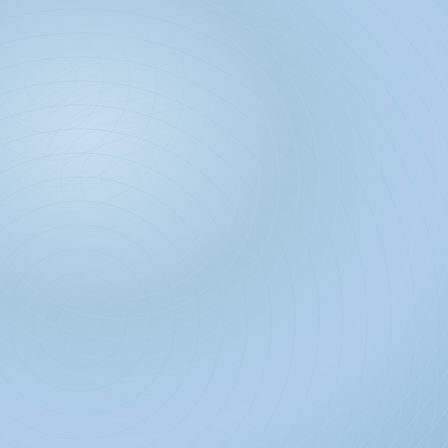[Figure (photo): Album cover for Acid Mammoth - Caravan (black), red/dark artwork with mammoth silhouettes]
ACID MAMMOTH
Caravan (black)
LP 18,50 €
[Figure (photo): Album cover for Acid Mammoth - Caravan (partial, right column), same red/dark artwork]
ACID M
Carava
LP
[Figure (photo): Album cover for Acid Mammoth - s/t (splatter), blue/teal background with hooded figures]
ACID MAMMOTH
s/t (splatter)
LP 33,00 €
[Figure (photo): Album cover for Acid Mammoth - s/t (partial, right column), same blue artwork]
ACID M
s/t
LP
[Figure (photo): Album cover for Acid's Trip, band photo with four long-haired musicians]
[Figure (photo): Partial album cover on right column, teal/blue swirl design]